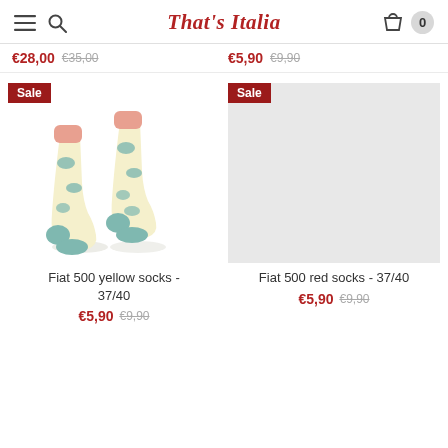That's Italia - navigation header with menu, search, cart (0)
€28,00 €35,00   €5,90 €9,90
[Figure (photo): Two yellow Fiat 500 socks with blue toe and heel, and teal car pattern, with a Sale badge]
Fiat 500 yellow socks - 37/40
€5,90 €9,90
[Figure (photo): Gray placeholder image with Sale badge for Fiat 500 red socks]
Fiat 500 red socks - 37/40
€5,90 €9,90